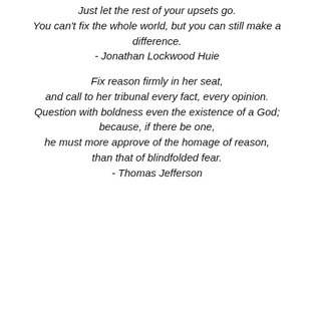Just let the rest of your upsets go. You can't fix the whole world, but you can still make a difference. - Jonathan Lockwood Huie
Fix reason firmly in her seat, and call to her tribunal every fact, every opinion. Question with boldness even the existence of a God; because, if there be one, he must more approve of the homage of reason, than that of blindfolded fear. - Thomas Jefferson